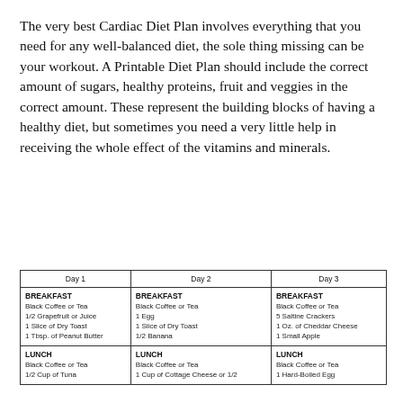The very best Cardiac Diet Plan involves everything that you need for any well-balanced diet, the sole thing missing can be your workout. A Printable Diet Plan should include the correct amount of sugars, healthy proteins, fruit and veggies in the correct amount. These represent the building blocks of having a healthy diet, but sometimes you need a very little help in receiving the whole effect of the vitamins and minerals.
| Day 1 | Day 2 | Day 3 |
| --- | --- | --- |
| BREAKFAST
Black Coffee or Tea
1/2 Grapefruit or Juice
1 Slice of Dry Toast
1 Tbsp. of Peanut Butter | BREAKFAST
Black Coffee or Tea
1 Egg
1 Slice of Dry Toast
1/2 Banana | BREAKFAST
Black Coffee or Tea
5 Saltine Crackers
1 Oz. of Cheddar Cheese
1 Small Apple |
| LUNCH
Black Coffee or Tea
1/2 Cup of Tuna | LUNCH
Black Coffee or Tea
1 Cup of Cottage Cheese or 1/2 | LUNCH
Black Coffee or Tea
1 Hard-Boiled Egg |